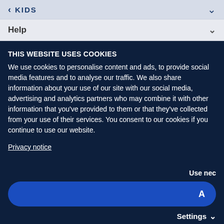< KIDS
Help
THIS WEBSITE USES COOKIES
We use cookies to personalise content and ads, to provide social media features and to analyse our traffic. We also share information about your use of our site with our social media, advertising and analytics partners who may combine it with other information that you’ve provided to them or that they’ve collected from your use of their services. You consent to our cookies if you continue to use our website.
Privacy notice
Use nec
A
Settings